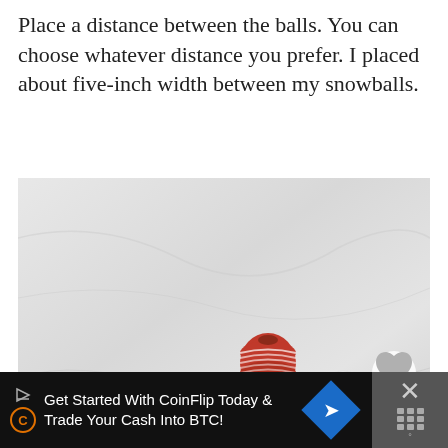Place a distance between the balls. You can choose whatever distance you prefer. I placed about five-inch width between my snowballs.
[Figure (photo): A garland of white cotton snowballs connected with red and white twine, arranged on a marble surface. A spool of red and white baker's twine sits in the middle. A 'What's Next' overlay in the bottom right corner shows a thumbnail for 'Gluten Free Coconut...' A heart icon and share icon overlay the right side of the image.]
Get Started With CoinFlip Today & Trade Your Cash Into BTC!